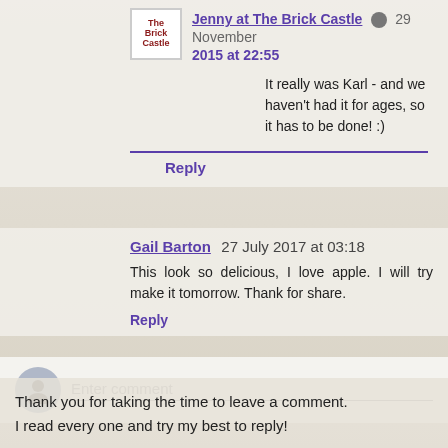Jenny at The Brick Castle  29 November 2015 at 22:55
It really was Karl - and we haven't had it for ages, so it has to be done! :)
Reply
Gail Barton  27 July 2017 at 03:18
This look so delicious, I love apple. I will try make it tomorrow. Thank for share.
Reply
Enter comment
Thank you for taking the time to leave a comment.
I read every one and try my best to reply!